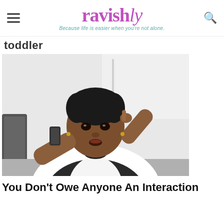ravishly — Because life is easier when you're not alone.
toddler
[Figure (photo): A Black woman in a white blouse with dark dotted sleeves and a bow tie, talking on a phone while touching her temple with one finger, appearing stressed or exasperated, seated at a desk with a dark chair in the background.]
You Don't Owe Anyone An Interaction